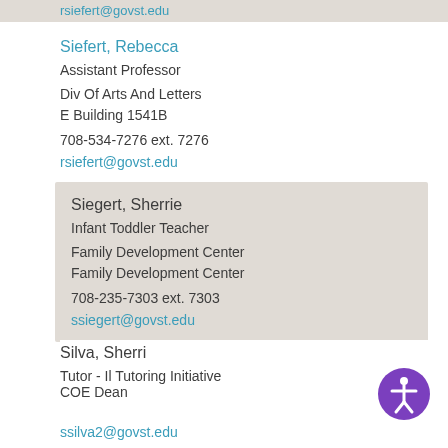rsiefert@govst.edu (truncated at top)
Siefert, Rebecca
Assistant Professor
Div Of Arts And Letters
E Building 1541B
708-534-7276 ext. 7276
rsiefert@govst.edu
Siegert, Sherrie
Infant Toddler Teacher
Family Development Center
Family Development Center
708-235-7303 ext. 7303
ssiegert@govst.edu
Silva, Sherri
Tutor - Il Tutoring Initiative
COE Dean
ssilva2@govst.edu